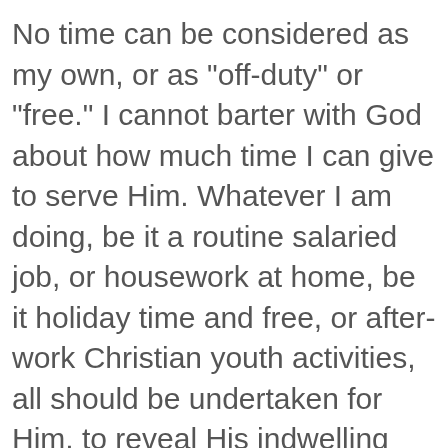No time can be considered as my own, or as "off-duty" or "free." I cannot barter with God about how much time I can give to serve Him. Whatever I am doing, be it a routine salaried job, or housework at home, be it holiday time and free, or after-work Christian youth activities, all should be undertaken for Him, to reveal His indwelling presence to those around me. The example of my life must be as telling as my preaching if He is to be honored. — Helen Roseveare